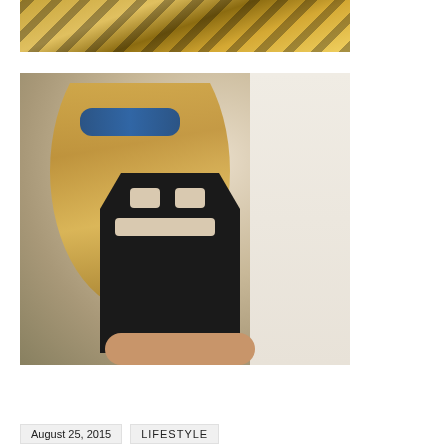[Figure (photo): Partial view of a golden/yellow tropical leaf or palm decoration, cropped at top of page]
[Figure (photo): Woman in black cut-out caged swimsuit with blue mirrored aviator sunglasses, blonde hair, posing against a white wall in bright sunlight]
August 25, 2015
LIFESTYLE